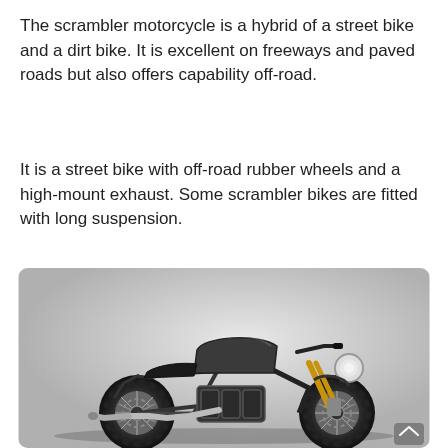The scrambler motorcycle is a hybrid of a street bike and a dirt bike. It is excellent on freeways and paved roads but also offers capability off-road.
It is a street bike with off-road rubber wheels and a high-mount exhaust. Some scrambler bikes are fitted with long suspension.
[Figure (photo): A scrambler motorcycle with a matte black fuel tank, knobby off-road tires, gold front forks, and a chrome high-mount exhaust, photographed against a light grey gradient background.]